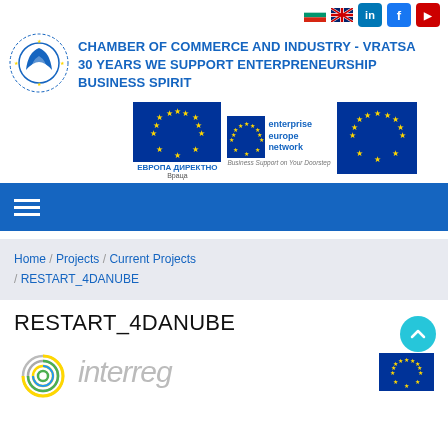CHAMBER OF COMMERCE AND INDUSTRY - VRATSA
30 YEARS WE SUPPORT ENTERPRENEURSHIP BUSINESS SPIRIT
[Figure (logo): Chamber of Commerce and Industry Vratsa circular logo with stylized wing/G emblem and dotted border]
[Figure (logo): EU flag blue background with yellow stars]
[Figure (logo): Enterprise Europe Network logo with EU stars and text 'enterprise europe network', subtitle 'ЕВРОПА ДИРЕКТНО Враца', 'Business Support on Your Doorstep']
[Figure (logo): EU flag on right side]
Home / Projects / Current Projects / RESTART_4DANUBE
RESTART_4DANUBE
[Figure (logo): Interreg programme logo with circular swirl graphic and 'interreg' text, plus EU flag on right]